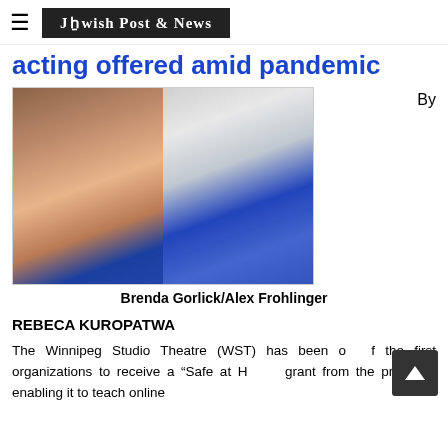Jewish Post & News
acting offered amid pandemic
[Figure (photo): Two women side by side: on the left, an older woman with short gray hair wearing a blue top; on the right, a younger woman with dark brown chin-length hair wearing a blue hoodie over a pink top.]
Brenda Gorlick/Alex Frohlinger
REBECA KUROPATWA
The Winnipeg Studio Theatre (WST) has been one of the first organizations to receive a “Safe at Home” grant from the province, enabling it to teach online